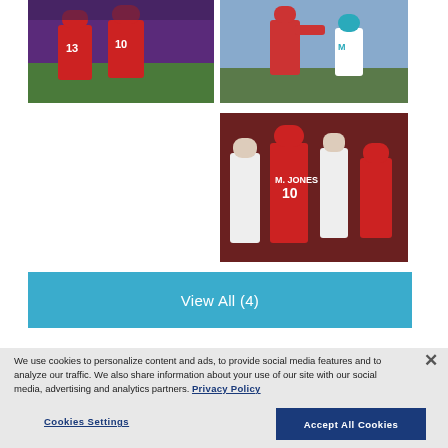[Figure (photo): Two Alabama football players in red uniforms numbered 13 and 10 on a football field]
[Figure (photo): Football player in white uniform throwing a pass during practice with Miami Dolphins players in background]
[Figure (photo): Football player number 10 M. Jones in red Alabama uniform celebrating with teammates]
View All (4)
We use cookies to personalize content and ads, to provide social media features and to analyze our traffic. We also share information about your use of our site with our social media, advertising and analytics partners. Privacy Policy
Cookies Settings
Accept All Cookies